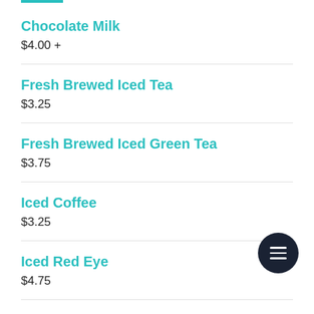Chocolate Milk
$4.00 +
Fresh Brewed Iced Tea
$3.25
Fresh Brewed Iced Green Tea
$3.75
Iced Coffee
$3.25
Iced Red Eye
$4.75
Arnold Palmer (partial)